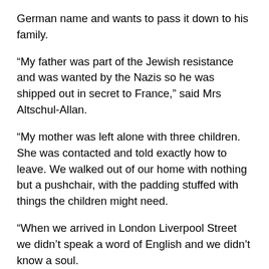German name and wants to pass it down to his family.
“My father was part of the Jewish resistance and was wanted by the Nazis so he was shipped out in secret to France,” said Mrs Altschul-Allan.
“My mother was left alone with three children. She was contacted and told exactly how to leave. We walked out of our home with nothing but a pushchair, with the padding stuffed with things the children might need.
“When we arrived in London Liverpool Street we didn’t speak a word of English and we didn’t know a soul.
“We found a room in a small house in Warwick Avenue. Eventually my father managed to get to England. We were very poor but we were lucky to be alive.
“One amazing thing is that my grandson was the third